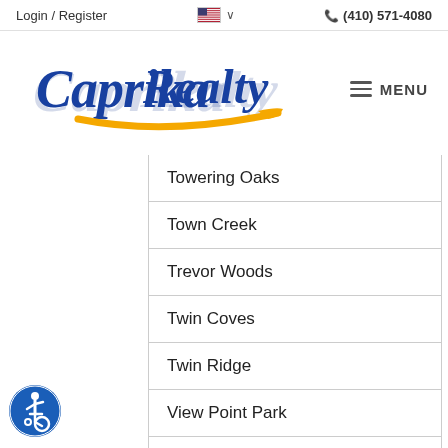Login / Register  🇺🇸 ∨   📞 (410) 571-4080
[Figure (logo): Caprika Realty logo in blue cursive script with yellow/orange swoosh underline]
Towering Oaks
Town Creek
Trevor Woods
Twin Coves
Twin Ridge
View Point Park
Villages at Furnace Branch
Waterwood
[Figure (illustration): Blue circular accessibility icon with wheelchair symbol]